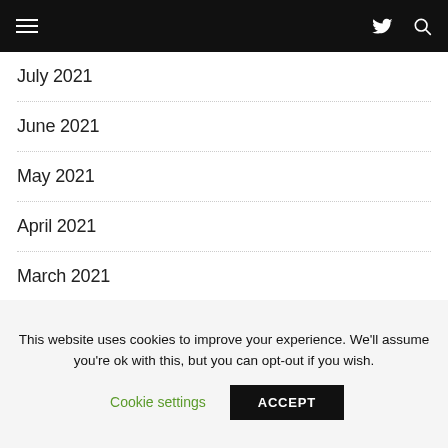Navigation bar with hamburger menu, Twitter icon, and search icon
July 2021
June 2021
May 2021
April 2021
March 2021
February 2021
January 2021
This website uses cookies to improve your experience. We'll assume you're ok with this, but you can opt-out if you wish.
Cookie settings | ACCEPT